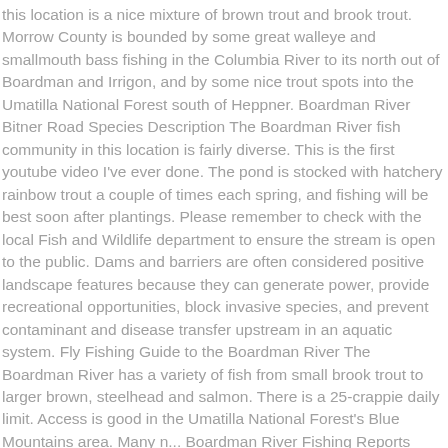this location is a nice mixture of brown trout and brook trout. Morrow County is bounded by some great walleye and smallmouth bass fishing in the Columbia River to its north out of Boardman and Irrigon, and by some nice trout spots into the Umatilla National Forest south of Heppner. Boardman River Bitner Road Species Description The Boardman River fish community in this location is fairly diverse. This is the first youtube video I've ever done. The pond is stocked with hatchery rainbow trout a couple of times each spring, and fishing will be best soon after plantings. Please remember to check with the local Fish and Wildlife department to ensure the stream is open to the public. Dams and barriers are often considered positive landscape features because they can generate power, provide recreational opportunities, block invasive species, and prevent contaminant and disease transfer upstream in an aquatic system. Fly Fishing Guide to the Boardman River The Boardman River has a variety of fish from small brook trout to larger brown, steelhead and salmon. There is a 25-crappie daily limit. Access is good in the Umatilla National Forest's Blue Mountains area. Many n... Boardman River Fishing Reports Recently shared catches and fishing spots. The deep runs and pools of this wide, large volume river are best accessed by ... Interesting facts: The Boardman River is